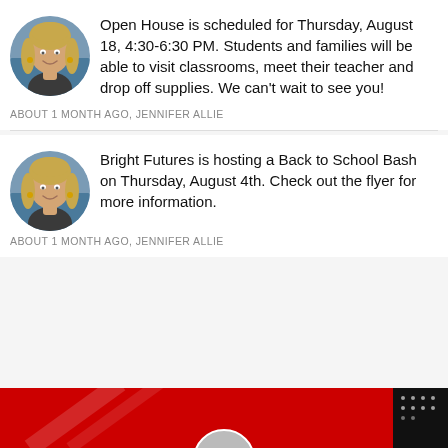Open House is scheduled for Thursday, August 18, 4:30-6:30 PM. Students and families will be able to visit classrooms, meet their teacher and drop off supplies. We can't wait to see you!
ABOUT 1 MONTH AGO, JENNIFER ALLIE
Bright Futures is hosting a Back to School Bash on Thursday, August 4th. Check out the flyer for more information.
ABOUT 1 MONTH AGO, JENNIFER ALLIE
[Figure (photo): Red and black banner/advertisement at the bottom of the page]